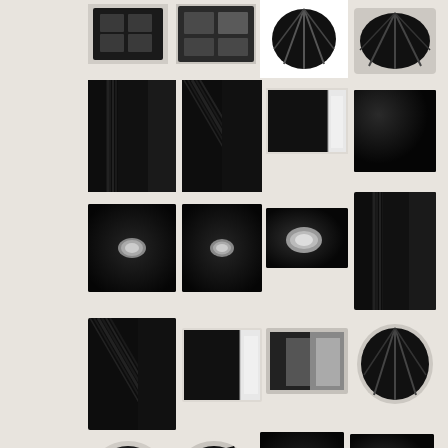[Figure (photo): Black photo album cover with grid window, top view]
[Figure (photo): Black photo album open showing photos on desk]
[Figure (photo): Open black photo album fan pages, top view on white background]
[Figure (photo): Black photo album open fan view, side angle]
[Figure (photo): Close-up of black album spine corner with ribbed texture]
[Figure (photo): Close-up of black album corner with diagonal ribbed texture]
[Figure (photo): Black album closed showing pages edge with white paper]
[Figure (photo): Black album cover flat surface detail]
[Figure (photo): Black album cover with oval window cutout centered]
[Figure (photo): Black album cover with oval window cutout, smaller]
[Figure (photo): Black album cover with oval window cutout, angled view]
[Figure (photo): Close-up black album spine ribbed corner detail]
[Figure (photo): Close-up black album corner ribbed texture, larger]
[Figure (photo): Black album showing white pages edges standing]
[Figure (photo): Black albums displayed in shelf setting]
[Figure (photo): Open black album fan pages circular view]
[Figure (photo): Black album with grid window oval shape, top view]
[Figure (photo): Black album with grid window oval shape, angled view]
[Figure (photo): Black album cover with oval window cutout portrait]
[Figure (photo): Black album with oval window cutout, flat angled view]